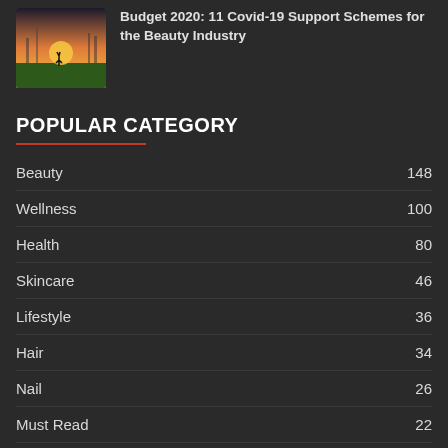[Figure (photo): Thumbnail image of a person doing yoga pose at sunset with city skyline in background]
Budget 2020: 11 Covid-19 Support Schemes for the Beauty Industry
POPULAR CATEGORY
Beauty 148
Wellness 100
Health 80
Skincare 46
Lifestyle 36
Hair 34
Nail 26
Must Read 22
Facial 21